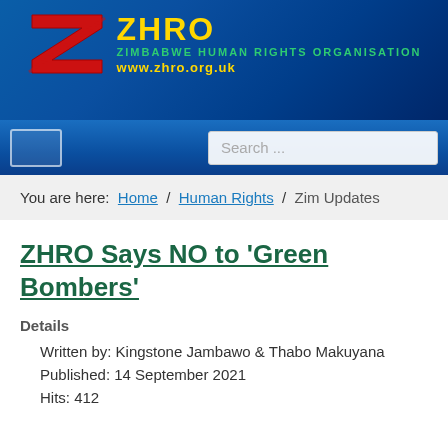[Figure (logo): ZHRO Zimbabwe Human Rights Organisation logo with red Z graphic and yellow/green text, blue gradient background header]
You are here: Home / Human Rights / Zim Updates
ZHRO Says NO to 'Green Bombers'
Details
Written by: Kingstone Jambawo & Thabo Makuyana
Published: 14 September 2021
Hits: 412